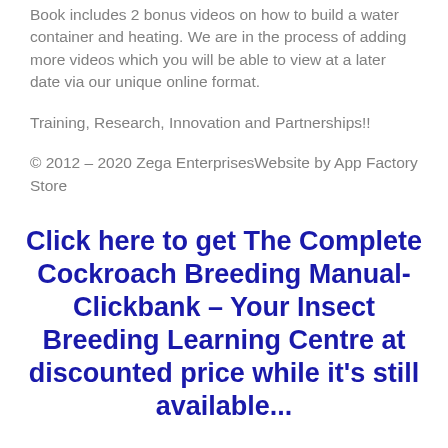Book includes 2 bonus videos on how to build a water container and heating. We are in the process of adding more videos which you will be able to view at a later date via our unique online format.
Training, Research, Innovation and Partnerships!!
© 2012 – 2020 Zega EnterprisesWebsite by App Factory Store
Click here to get The Complete Cockroach Breeding Manual- Clickbank – Your Insect Breeding Learning Centre at discounted price while it's still available...